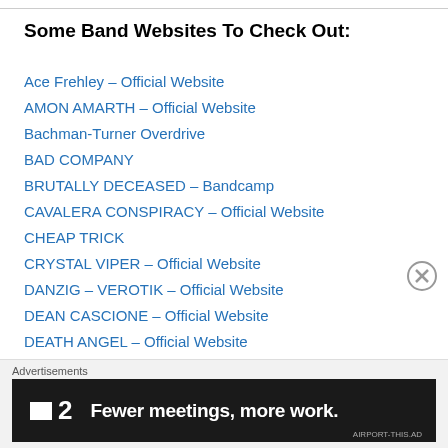Some Band Websites To Check Out:
Ace Frehley – Official Website
AMON AMARTH – Official Website
Bachman-Turner Overdrive
BAD COMPANY
BRUTALLY DECEASED – Bandcamp
CAVALERA CONSPIRACY – Official Website
CHEAP TRICK
CRYSTAL VIPER – Official Website
DANZIG – VEROTIK – Official Website
DEAN CASCIONE – Official Website
DEATH ANGEL – Official Website
DESTRUCTION – Official Website
DORO PESCH – Official Website
Ed… – Official Website
[Figure (screenshot): Advertisement banner: F2 logo with text 'Fewer meetings, more work.']